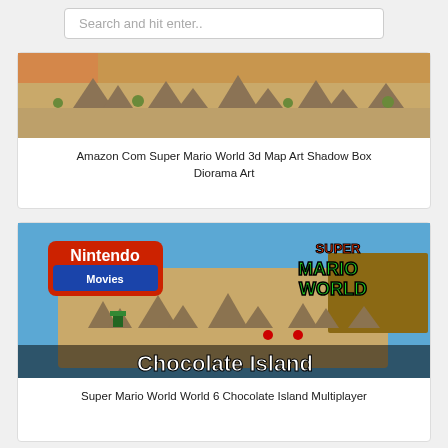Search and hit enter..
[Figure (screenshot): Screenshot of Amazon Super Mario World 3D Map Art Shadow Box Diorama product image showing a sandy map-style artwork with mountain/tree sprites]
Amazon Com Super Mario World 3d Map Art Shadow Box Diorama Art
[Figure (screenshot): Screenshot of Nintendo Movies Super Mario World 6 Chocolate Island multiplayer gameplay showing the Chocolate Island world map with mountain sprites, blue water/ocean, Nintendo Movies logo top-left and SUPER MARIO WORLD logo top-right]
Super Mario World World 6 Chocolate Island Multiplayer